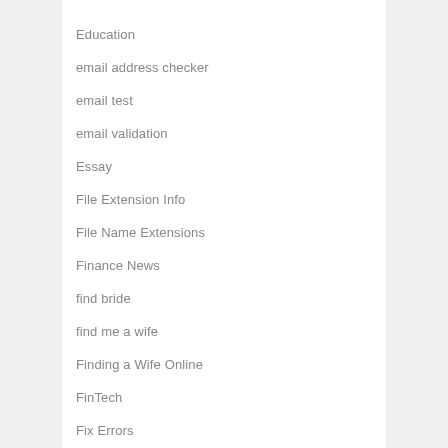Education
email address checker
email test
email validation
Essay
File Extension Info
File Name Extensions
Finance News
find bride
find me a wife
Finding a Wife Online
FinTech
Fix Errors